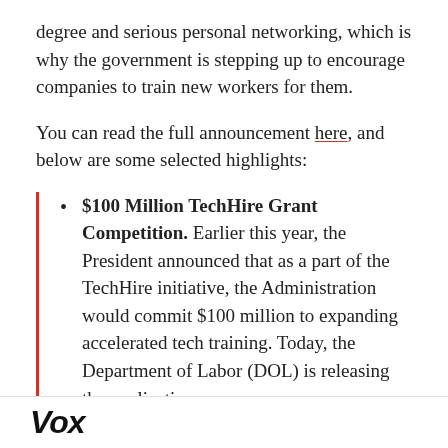degree and serious personal networking, which is why the government is stepping up to encourage companies to train new workers for them.
You can read the full announcement here, and below are some selected highlights:
$100 Million TechHire Grant Competition. Earlier this year, the President announced that as a part of the TechHire initiative, the Administration would commit $100 million to expanding accelerated tech training. Today, the Department of Labor (DOL) is releasing the application
Vox